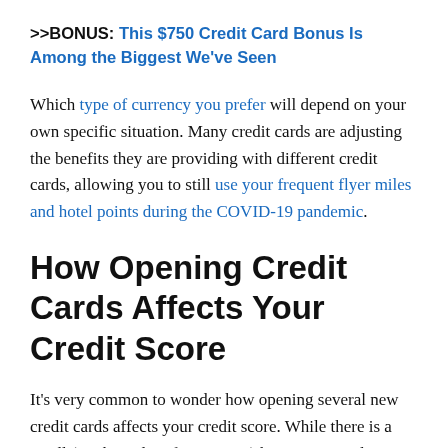>>BONUS: This $750 Credit Card Bonus Is Among the Biggest We've Seen
Which type of currency you prefer will depend on your own specific situation. Many credit cards are adjusting the benefits they are providing with different credit cards, allowing you to still use your frequent flyer miles and hotel points during the COVID-19 pandemic.
How Opening Credit Cards Affects Your Credit Score
It's very common to wonder how opening several new credit cards affects your credit score. While there is a small (on the order of 2-3 points) hit to your credit score when you apply for a new credit card, this hard pull is temporary